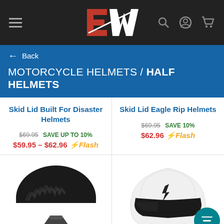2W - navigation header with hamburger menu, logo, search, account, and cart icons
← Back
MOTORCYCLE HELMETS / HALF HELMETS
Skid Lid Built For Disaster Helmets
$69.95 SAVE UP TO 10% $59.95 – $62.96 ⚡Flash
Skid Lid Eagle Rip Helmets
$69.95 SAVE 10% $62.96 ⚡Flash
[Figure (photo): Black half helmet with flame pattern design]
[Figure (photo): White full-face helmet with lightning bolt logo and dark visor, with teal filter button overlay]